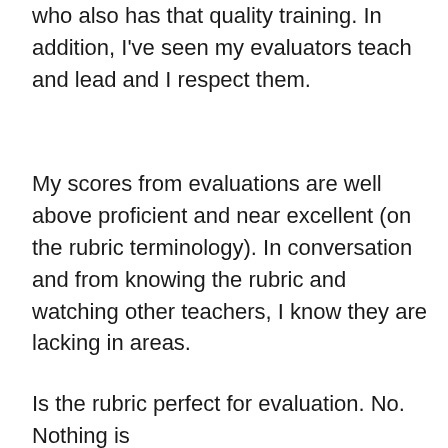who also has that quality training. In addition, I've seen my evaluators teach and lead and I respect them.
My scores from evaluations are well above proficient and near excellent (on the rubric terminology). In conversation and from knowing the rubric and watching other teachers, I know they are lacking in areas.
Is the rubric perfect for evaluation. No. Nothing is